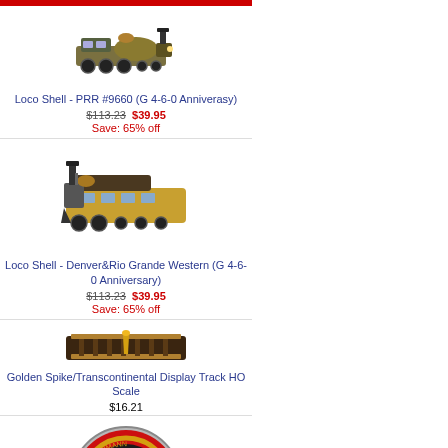[Figure (photo): Loco Shell PRR #9660 G 4-6-0 Anniversary model photograph]
Loco Shell - PRR #9660 (G 4-6-0 Anniverasy)
$113.23  $39.95
Save: 65% off
[Figure (photo): Loco Shell Denver&Rio Grande Western G 4-6-0 Anniversary model photograph]
Loco Shell - Denver&Rio Grande Western (G 4-6-0 Anniversary)
$113.23  $39.95
Save: 65% off
[Figure (photo): Golden Spike/Transcontinental Display Track HO Scale photograph]
Golden Spike/Transcontinental Display Track HO Scale
$16.21
[Figure (photo): Bachmann Hard Enamel Lapel Pin photograph - circular badge with B logo]
Bachmann® Hard Enamel Lapel Pin
$4.76
New Products  [more]